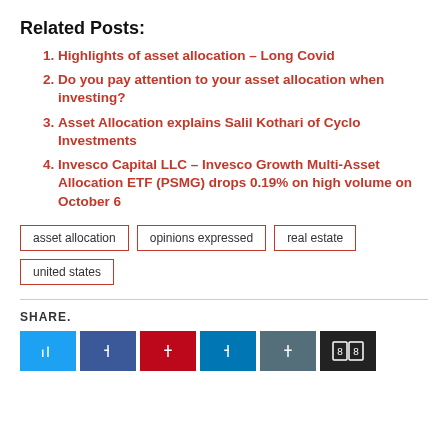Related Posts:
Highlights of asset allocation – Long Covid
Do you pay attention to your asset allocation when investing?
Asset Allocation explains Salil Kothari of Cyclo Investments
Invesco Capital LLC – Invesco Growth Multi-Asset Allocation ETF (PSMG) drops 0.19% on high volume on October 6
asset allocation   opinions expressed   real estate   united states
SHARE.